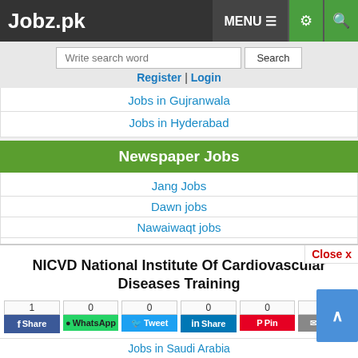Jobz.pk
Write search word | Search
Register | Login
Jobs in Gujranwala
Jobs in Hyderabad
Newspaper Jobs
Jang Jobs
Dawn jobs
Nawaiwaqt jobs
Express Jobs
Aaj Jobs
NICVD National Institute Of Cardiovascular Diseases Training
Share buttons: Facebook 1, WhatsApp 0, Tweet 0, Share 0, Pin 0, Email 0
Job Closed | Save | Comment | Print
Jobs in Saudi Arabia